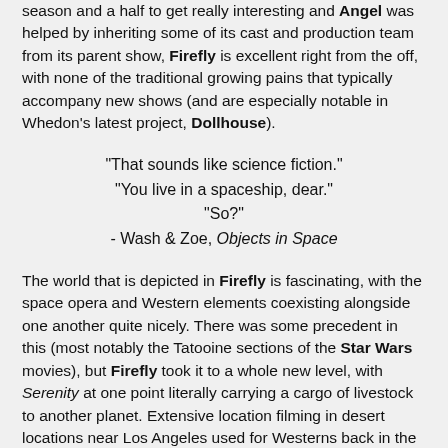season and a half to get really interesting and Angel was helped by inheriting some of its cast and production team from its parent show, Firefly is excellent right from the off, with none of the traditional growing pains that typically accompany new shows (and are especially notable in Whedon's latest project, Dollhouse).
"That sounds like science fiction."
"You live in a spaceship, dear."
"So?"
- Wash & Zoe, Objects in Space
The world that is depicted in Firefly is fascinating, with the space opera and Western elements coexisting alongside one another quite nicely. There was some precedent in this (most notably the Tatooine sections of the Star Wars movies), but Firefly took it to a whole new level, with Serenity at one point literally carrying a cargo of livestock to another planet. Extensive location filming in desert locations near Los Angeles used for Westerns back in the 1950s and 1960s helps further the atmosphere, and the unusual mix of high